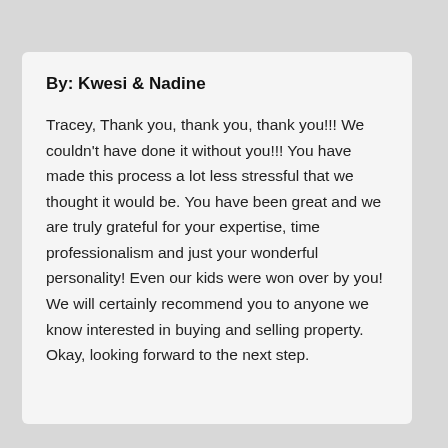By: Kwesi & Nadine
Tracey, Thank you, thank you, thank you!!! We couldn't have done it without you!!! You have made this process a lot less stressful that we thought it would be. You have been great and we are truly grateful for your expertise, time professionalism and just your wonderful personality! Even our kids were won over by you! We will certainly recommend you to anyone we know interested in buying and selling property. Okay, looking forward to the next step.